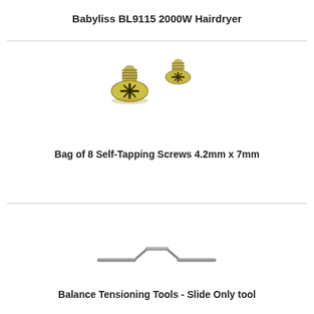Babyliss BL9115 2000W Hairdryer
[Figure (photo): Two gold-colored flat-head self-tapping screws with Phillips cross-head drive, viewed from above at slight angle]
Bag of 8 Self-Tapping Screws 4.2mm x 7mm
[Figure (photo): A metal balance tensioning slide-only tool, flat with a raised central step, silver/grey colored]
Balance Tensioning Tools - Slide Only tool